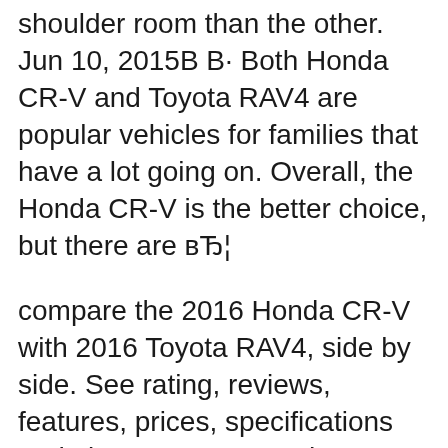shoulder room than the other. Jun 10, 2015B B· Both Honda CR-V and Toyota RAV4 are popular vehicles for families that have a lot going on. Overall, the Honda CR-V is the better choice, but there are вЂ¦
compare the 2016 Honda CR-V with 2016 Toyota RAV4, side by side. See rating, reviews, features, prices, specifications and pictures 2016 Honda CR-V vs 2016 Toyota RAV4 - The Car Connection Jun 10, 2015B B· Both Honda CR-V and Toyota RAV4 are popular vehicles for families that have a lot going on. Overall, the Honda CR-V is the better choice, but there are вЂ¦